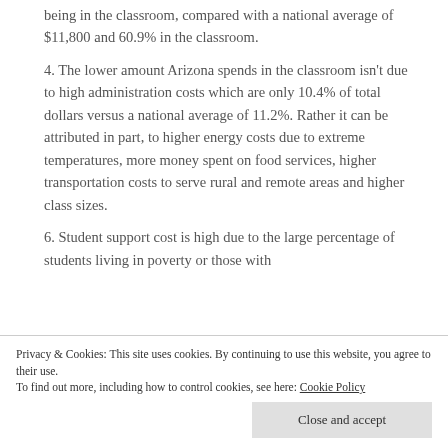being in the classroom, compared with a national average of $11,800 and 60.9% in the classroom.
4. The lower amount Arizona spends in the classroom isn't due to high administration costs which are only 10.4% of total dollars versus a national average of 11.2%. Rather it can be attributed in part, to higher energy costs due to extreme temperatures, more money spent on food services, higher transportation costs to serve rural and remote areas and higher class sizes.
6. Student support cost is high due to the large percentage of students living in poverty or those with
Privacy & Cookies: This site uses cookies. By continuing to use this website, you agree to their use. To find out more, including how to control cookies, see here: Cookie Policy